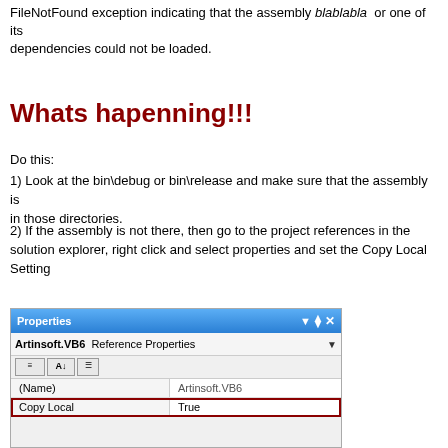FileNotFound exception indicating that the assembly blablabla or one of its dependencies could not be loaded.
Whats hapenning!!!
Do this:
1) Look at the bin\debug or bin\release and make sure that the assembly is in those directories.
2) If the assembly is not there, then go to the project references in the solution explorer, right click and select properties and set the Copy Local Setting
[Figure (screenshot): Visual Studio Properties panel showing Reference Properties for Artinsoft.VB6 with Copy Local set to True, highlighted with a red border]